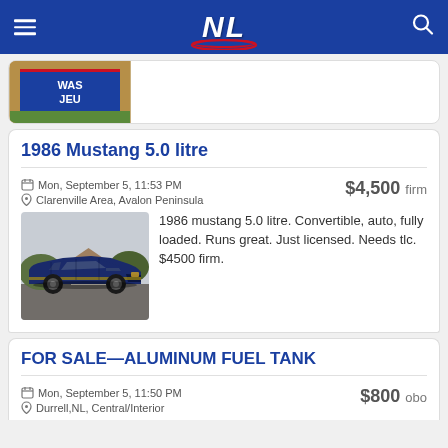NL
[Figure (screenshot): Partial view of a previous listing card with a photo showing a sign with 'WAS JEU' text]
1986 Mustang 5.0 litre
Mon, September 5, 11:53 PM
Clarenville Area, Avalon Peninsula
$4,500 firm
[Figure (photo): Blue 1986 Ford Mustang parked on gravel, side view showing the full car with black wheels]
1986 mustang 5.0 litre. Convertible, auto, fully loaded. Runs great. Just licensed. Needs tlc. $4500 firm.
FOR SALE—ALUMINUM FUEL TANK
Mon, September 5, 11:50 PM
Durrell,NL, Central/Interior
$800 obo